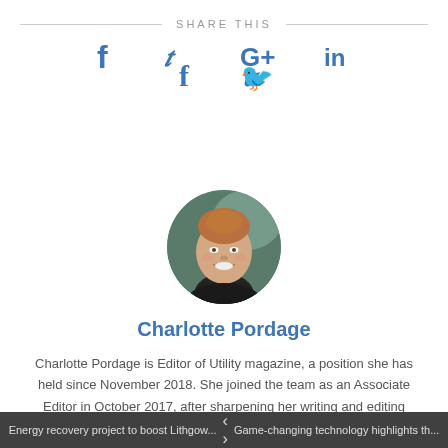SHARE THIS
[Figure (illustration): Social media sharing icons: Facebook (f), Twitter (bird/t), Google+ (G+), LinkedIn (in) in blue]
[Figure (photo): Circular profile photo of Charlotte Pordage, a smiling woman with hair up, wearing dark top, in an indoor setting]
Charlotte Pordage
Charlotte Pordage is Editor of Utility magazine, a position she has held since November 2018. She joined the team as an Associate Editor in October 2017, after sharpening her writing and editing skills across a range of print and digital publications. Charlotte graduated from Royal Holloway, University of London, in 2011 with joint honours in English and Latin. When she's not putting together Australia's only dedicated
Energy recovery project to boost Lithgow... < > Game-changing technology highlights th...